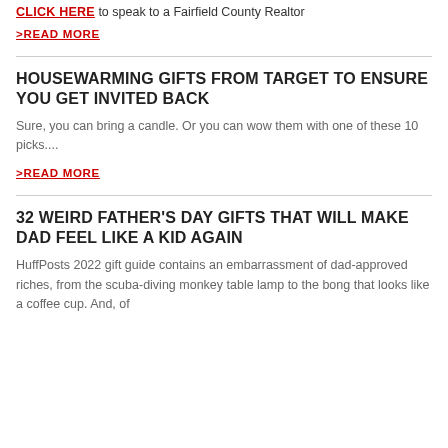CLICK HERE to speak to a Fairfield County Realtor
>READ MORE
HOUSEWARMING GIFTS FROM TARGET TO ENSURE YOU GET INVITED BACK
Sure, you can bring a candle. Or you can wow them with one of these 10 picks....
>READ MORE
32 WEIRD FATHER'S DAY GIFTS THAT WILL MAKE DAD FEEL LIKE A KID AGAIN
HuffPosts 2022 gift guide contains an embarrassment of dad-approved riches, from the scuba-diving monkey table lamp to the bong that looks like a coffee cup. And, of